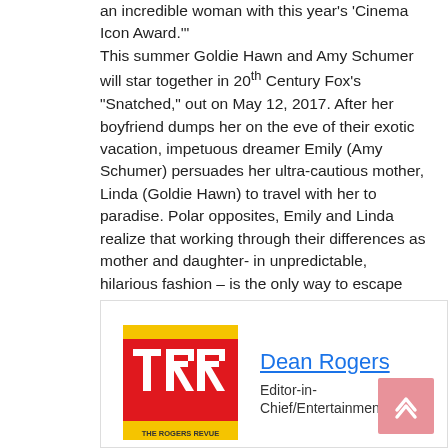an incredible woman with this year's 'Cinema Icon Award.'
This summer Goldie Hawn and Amy Schumer will star together in 20th Century Fox's "Snatched," out on May 12, 2017. After her boyfriend dumps her on the eve of their exotic vacation, impetuous dreamer Emily (Amy Schumer) persuades her ultra-cautious mother, Linda (Goldie Hawn) to travel with her to paradise. Polar opposites, Emily and Linda realize that working through their differences as mother and daughter- in unpredictable, hilarious fashion – is the only way to escape the wildly outrageous jungle adventure they have fallen into.
[Figure (logo): The Rogers Revue logo — red and yellow square with TRR letters in white]
Dean Rogers
Editor-in-Chief/Entertainment